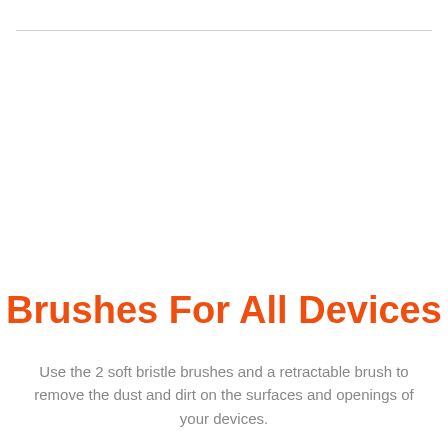Brushes For All Devices
Use the 2 soft bristle brushes and a retractable brush to remove the dust and dirt on the surfaces and openings of your devices.